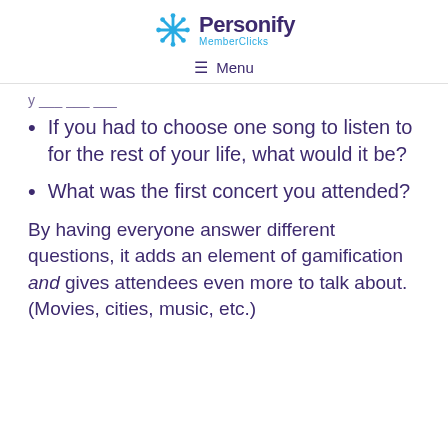Personify MemberClicks — Menu
If you had to choose one song to listen to for the rest of your life, what would it be?
What was the first concert you attended?
By having everyone answer different questions, it adds an element of gamification and gives attendees even more to talk about. (Movies, cities, music, etc.)